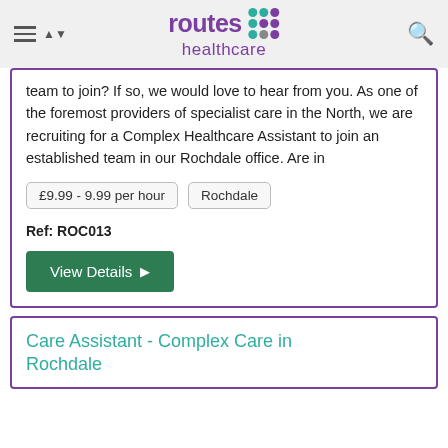routes healthcare
team to join? If so, we would love to hear from you. As one of the foremost providers of specialist care in the North, we are recruiting for a Complex Healthcare Assistant to join an established team in our Rochdale office. Are in
£9.99 - 9.99 per hour   Rochdale
Ref: ROC013
View Details
Care Assistant - Complex Care in Rochdale